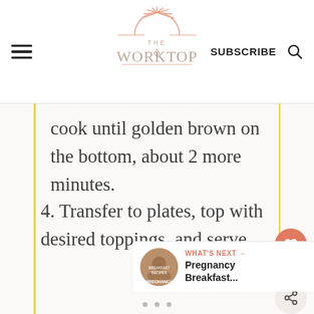THE WORKTOP | SUBSCRIBE
cook until golden brown on the bottom, about 2 more minutes.
4. Transfer to plates, top with desired toppings, and serve.
3.8K
WHAT'S NEXT → Pregnancy Breakfast...